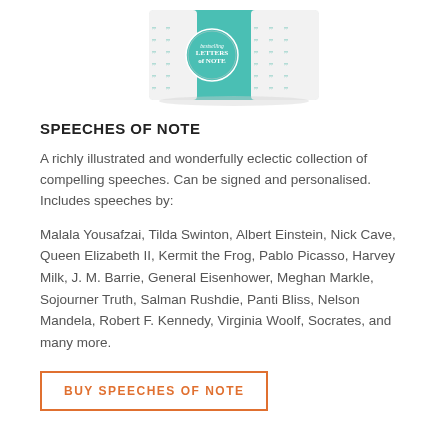[Figure (photo): Product photo of 'Speeches of Note' book/box — a teal/mint colored box with a pattern of small comma-like shapes in green on white, with a circular label on the front reading 'Speeches of Note'. Partially cropped at top.]
SPEECHES OF NOTE
A richly illustrated and wonderfully eclectic collection of compelling speeches. Can be signed and personalised. Includes speeches by:
Malala Yousafzai, Tilda Swinton, Albert Einstein, Nick Cave, Queen Elizabeth II, Kermit the Frog, Pablo Picasso, Harvey Milk, J. M. Barrie, General Eisenhower, Meghan Markle, Sojourner Truth, Salman Rushdie, Panti Bliss, Nelson Mandela, Robert F. Kennedy, Virginia Woolf, Socrates, and many more.
BUY SPEECHES OF NOTE